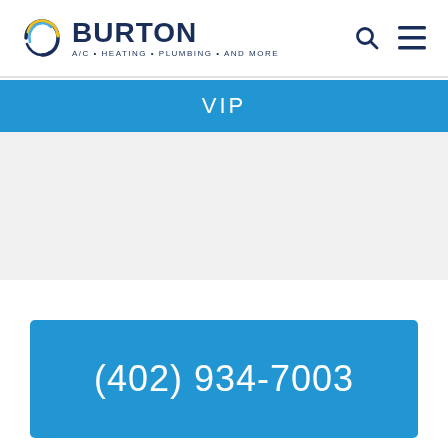[Figure (logo): Burton A/C · Heating · Plumbing · And More company logo with circular swoosh graphic in blue and yellow]
VIP
(402) 934-7003